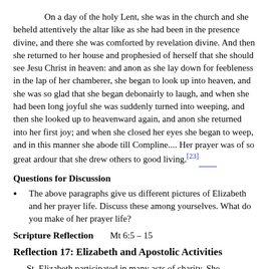On a day of the holy Lent, she was in the church and she beheld attentively the altar like as she had been in the presence divine, and there she was comforted by revelation divine. And then she returned to her house and prophesied of herself that she should see Jesu Christ in heaven: and anon as she lay down for feebleness in the lap of her chamberer, she began to look up into heaven, and she was so glad that she began debonairly to laugh, and when she had been long joyful she was suddenly turned into weeping, and then she looked up to heavenward again, and anon she returned into her first joy; and when she closed her eyes she began to weep, and in this manner she abode till Compline.... Her prayer was of so great ardour that she drew others to good living.[23]
Questions for Discussion
The above paragraphs give us different pictures of Elizabeth and her prayer life. Discuss these among yourselves. What do you make of her prayer life?
Scripture Reflection    Mt 6:5 – 15
Reflection 17: Elizabeth and Apostolic Activities
St. Elizabeth participated in many acts of charity. She